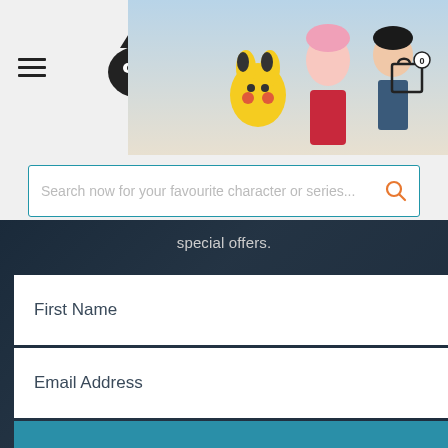[Figure (screenshot): Website header with hamburger menu icon, anime figure store logo, Pikachu and anime characters banner, shopping cart icon with 0 badge]
Search now for your favourite character or series...
special offers.
First Name
Email Address
YES PLEASE